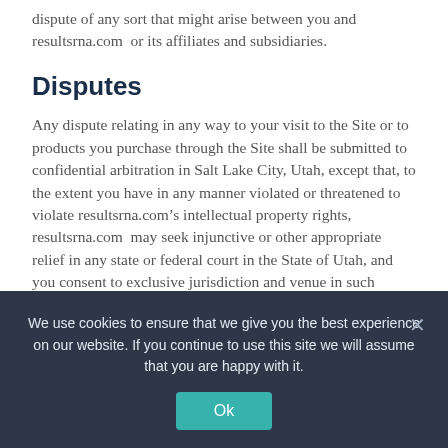dispute of any sort that might arise between you and resultsrna.com or its affiliates and subsidiaries.
Disputes
Any dispute relating in any way to your visit to the Site or to products you purchase through the Site shall be submitted to confidential arbitration in Salt Lake City, Utah, except that, to the extent you have in any manner violated or threatened to violate resultsrna.com’s intellectual property rights, resultsrna.com may seek injunctive or other appropriate relief in any state or federal court in the State of Utah, and you consent to exclusive jurisdiction and venue in such courts. Arbitration under this Agreement shall be conducted under the rules then prevailing of the American
We use cookies to ensure that we give you the best experience on our website. If you continue to use this site we will assume that you are happy with it.
Ok